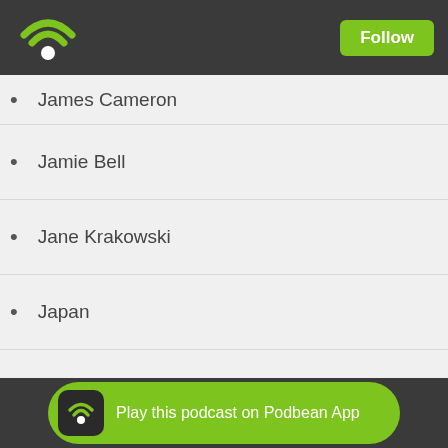Podbean logo and Follow button
James Cameron
Jamie Bell
Jane Krakowski
Japan
Japanese
Japanese Anime
Japanese Cartoon
Japanese Cartoons
Japanese Export
Jar Jar
Play this podcast on Podbean App